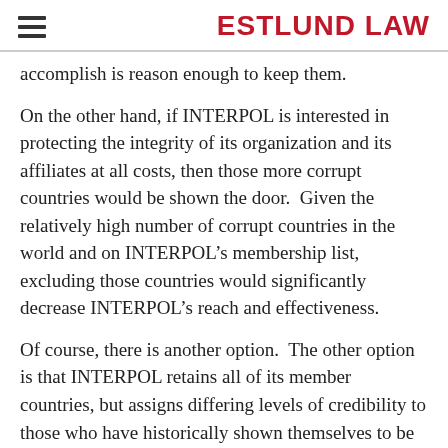ESTLUND LAW
accomplish is reason enough to keep them.
On the other hand, if INTERPOL is interested in protecting the integrity of its organization and its affiliates at all costs, then those more corrupt countries would be shown the door.  Given the relatively high number of corrupt countries in the world and on INTERPOL’s membership list, excluding those countries would significantly decrease INTERPOL’s reach and effectiveness.
Of course, there is another option.  The other option is that INTERPOL retains all of its member countries, but assigns differing levels of credibility to those who have historically shown themselves to be more corrupt.  The level of credibility would